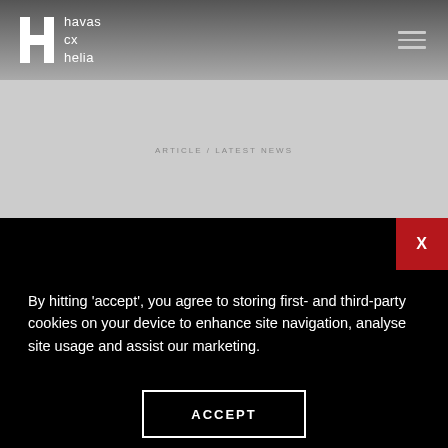havas cx helia
By hitting 'accept', you agree to storing first- and third-party cookies on your device to enhance site navigation, analyse site usage and assist our marketing.
ACCEPT